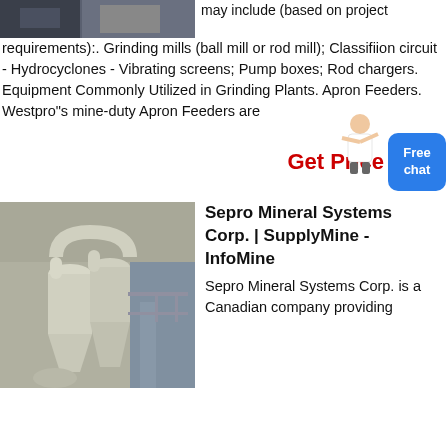[Figure (photo): Industrial grinding/mining machinery, top portion visible]
may include (based on project requirements):. Grinding mills (ball mill or rod mill); Classifiion circuit - Hydrocyclones - Vibrating screens; Pump boxes; Rod chargers. Equipment Commonly Utilized in Grinding Plants. Apron Feeders. Westpro"s mine-duty Apron Feeders are
Get Price
[Figure (photo): Industrial mineral processing equipment - cyclone separators/hydrocyclones in a facility]
Sepro Mineral Systems Corp. | SupplyMine - InfoMine
Sepro Mineral Systems Corp. is a Canadian company providing